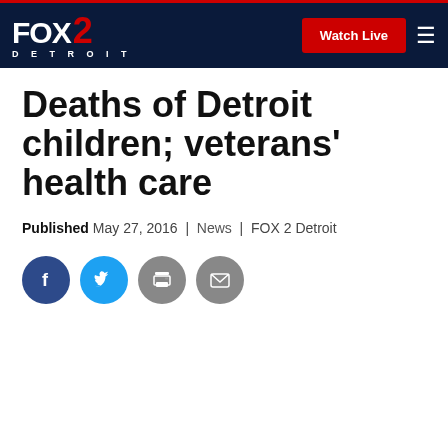FOX 2 DETROIT | Watch Live
Deaths of Detroit children; veterans' health care
Published May 27, 2016 | News | FOX 2 Detroit
[Figure (other): Social share icons: Facebook, Twitter, Print, Email]